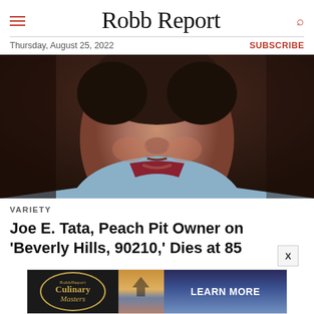Robb Report
Thursday, August 25, 2022
SUBSCRIBE
[Figure (photo): Close-up photograph of Joe E. Tata, a man with dark curly hair, wearing a light blue shirt with a dark red collar, photographed from shoulders up in a vintage style.]
VARIETY
Joe E. Tata, Peach Pit Owner on 'Beverly Hills, 90210,' Dies at 85
[Figure (infographic): Advertisement banner for Robb Report Culinary Masters with logo on black background, scenic image, and LEARN MORE button.]